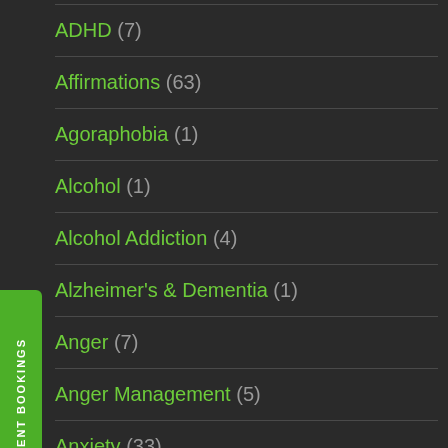ADHD (7)
Affirmations (63)
Agoraphobia (1)
Alcohol (1)
Alcohol Addiction (4)
Alzheimer's & Dementia (1)
Anger (7)
Anger Management (5)
Anxiety (33)
Anxiety and Panic Attack (3)